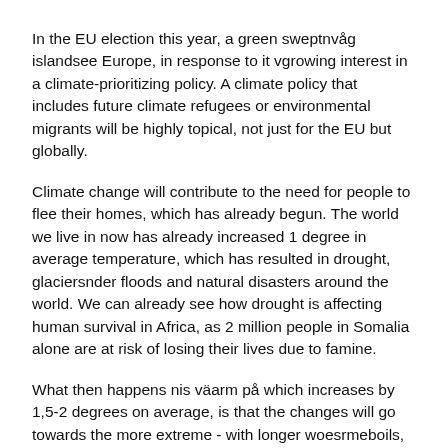In the EU election this year, a green sweptnvåg islandsee Europe, in response to it vgrowing interest in a climate-prioritizing policy. A climate policy that includes future climate refugees or environmental migrants will be highly topical, not just for the EU but globally.
Climate change will contribute to the need for people to flee their homes, which has already begun. The world we live in now has already increased 1 degree in average temperature, which has resulted in drought, glaciersnder floods and natural disasters around the world. We can already see how drought is affecting human survival in Africa, as 2 million people in Somalia alone are at risk of losing their lives due to famine.
What then happens nis väarm på which increases by 1,5-2 degrees on average, is that the changes will go towards the more extreme - with longer woesrmeboils, ...